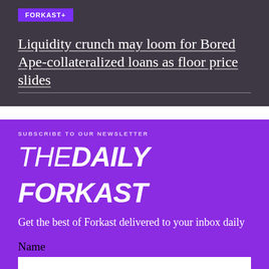[Figure (logo): FORKAST+ badge/logo in purple]
Liquidity crunch may loom for Bored Ape-collateralized loans as floor price slides
SUBSCRIBE TO OUR NEWSLETTER
THE DAILY FORKAST
Get the best of Forkast delivered to your inbox daily
Name